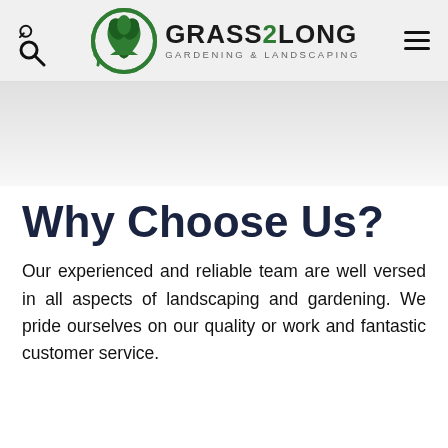GRASS2LONG GARDENING & LANDSCAPING
[Figure (logo): Grass2Long gardening and landscaping logo with green circular plant emblem]
Why Choose Us?
Our experienced and reliable team are well versed in all aspects of landscaping and gardening. We pride ourselves on our quality or work and fantastic customer service.